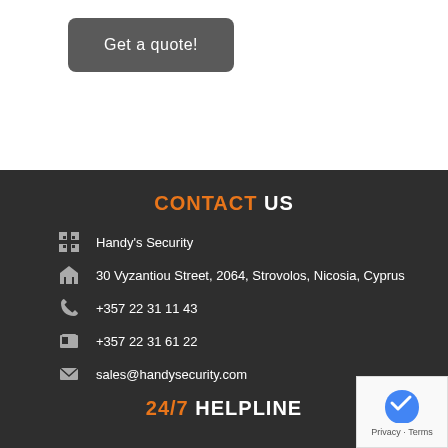Get a quote!
CONTACT US
Handy's Security
30 Vyzantiou Street, 2064, Strovolos, Nicosia, Cyprus
+357 22 31 11 43
+357 22 31 61 22
sales@handysecurity.com
24/7 HELPLINE